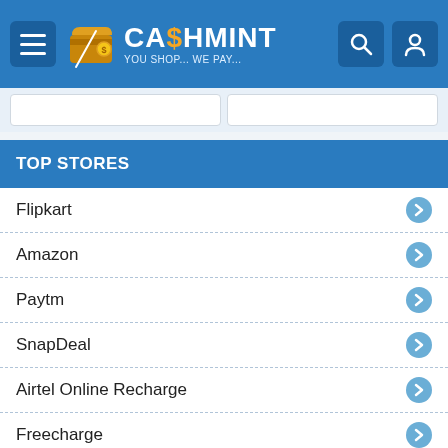CASHMINT - YOU SHOP... WE PAY...
TOP STORES
Flipkart
Amazon
Paytm
SnapDeal
Airtel Online Recharge
Freecharge
Ebay
Shopclues
Panuval Book Store -